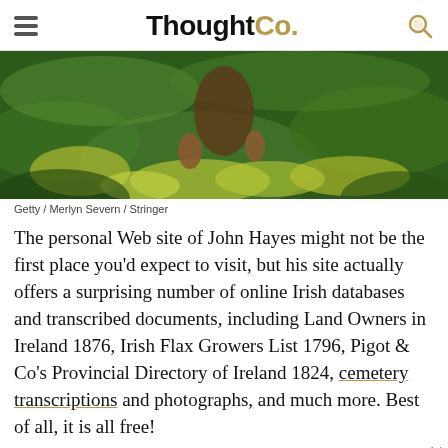ThoughtCo.
[Figure (photo): Person working in green grass field, hands near ground, grass bundles visible]
Getty / Merlyn Severn / Stringer
The personal Web site of John Hayes might not be the first place you'd expect to visit, but his site actually offers a surprising number of online Irish databases and transcribed documents, including Land Owners in Ireland 1876, Irish Flax Growers List 1796, Pigot & Co's Provincial Directory of Ireland 1824, cemetery transcriptions and photographs, and much more. Best of all, it is all free!
[Figure (other): Dotdash Meredith advertisement banner: We help people find answers, solve problems and get inspired.]